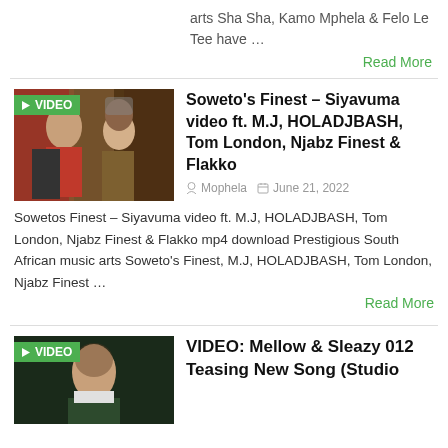arts Sha Sha, Kamo Mphela & Felo Le Tee have …
Read More
[Figure (photo): Thumbnail image of people in colorful clothing with VIDEO badge overlay]
Soweto's Finest – Siyavuma video ft. M.J, HOLADJBASH, Tom London, Njabz Finest & Flakko
Mophela   June 21, 2022
Sowetos Finest – Siyavuma video ft. M.J, HOLADJBASH, Tom London, Njabz Finest & Flakko mp4 download Prestigious South African music arts Soweto's Finest, M.J, HOLADJBASH, Tom London, Njabz Finest …
Read More
[Figure (photo): Thumbnail image of a person with VIDEO badge overlay]
VIDEO: Mellow & Sleazy 012 Teasing New Song (Studio